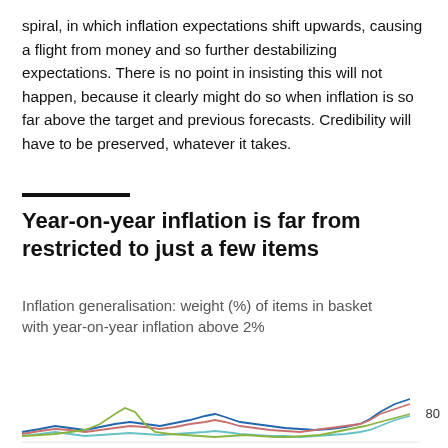spiral, in which inflation expectations shift upwards, causing a flight from money and so further destabilizing expectations. There is no point in insisting this will not happen, because it clearly might do so when inflation is so far above the target and previous forecasts. Credibility will have to be preserved, whatever it takes.
Year-on-year inflation is far from restricted to just a few items
Inflation generalisation: weight (%) of items in basket with year-on-year inflation above 2%
[Figure (line-chart): Multi-line chart showing inflation generalisation (weight % of basket items with year-on-year inflation above 2%) for US CPI, US PCE, Eurozone, and UK. Lines show values ranging roughly 0–80. Recent sharp rise visible especially for US CPI and UK reaching near 80.]